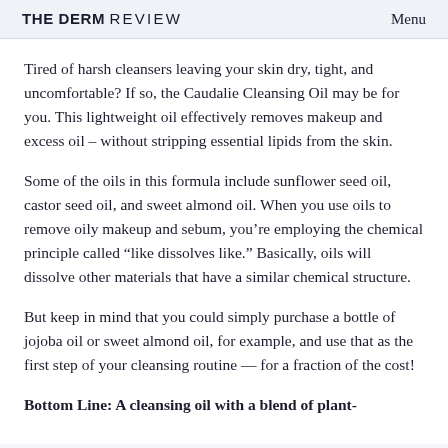THE DERM REVIEW   Menu
Tired of harsh cleansers leaving your skin dry, tight, and uncomfortable? If so, the Caudalie Cleansing Oil may be for you. This lightweight oil effectively removes makeup and excess oil – without stripping essential lipids from the skin.
Some of the oils in this formula include sunflower seed oil, castor seed oil, and sweet almond oil. When you use oils to remove oily makeup and sebum, you're employing the chemical principle called “like dissolves like.” Basically, oils will dissolve other materials that have a similar chemical structure.
But keep in mind that you could simply purchase a bottle of jojoba oil or sweet almond oil, for example, and use that as the first step of your cleansing routine — for a fraction of the cost!
Bottom Line: A cleansing oil with a blend of plant-